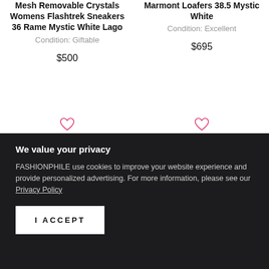Mesh Removable Crystals Womens Flashtrek Sneakers 36 Rame Mystic White Lago
Condition: Giftable
$500
Marmont Loafers 38.5 Mystic White
Condition: Excellent
$695
[Figure (illustration): Two pink heart/wishlist icons, one for each product column]
We value your privacy
FASHIONPHILE use cookies to improve your website experience and provide personalized advertising. For more information, please see our Privacy Policy
I ACCEPT